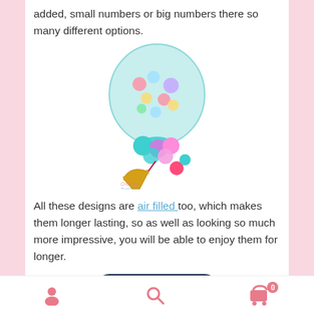added, small numbers or big numbers there so many different options.
[Figure (photo): A balloon arrangement featuring a large clear bubble balloon with LOL doll prints, surrounded by small colorful balloons in teal, purple, pink and blue, attached to a gold number 7 balloon. A 'Creative Balloons' watermark is visible.]
All these designs are air filled too, which makes them longer lasting, so as well as looking so much more impressive, you will be able to enjoy them for longer.
[Figure (photo): Partial view of a dark navy balloon arrangement with gold star accents, partially visible at the bottom of the page.]